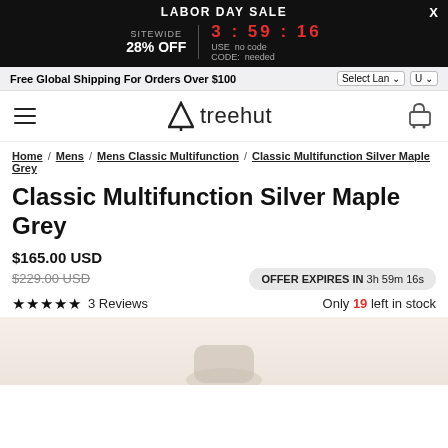LABOR DAY SALE | SITEWIDE 28% OFF | 3 : 59 : 16 | USE CODE: no code needed | X
Free Global Shipping For Orders Over $100 | Select Lan | U
[Figure (logo): Treehut logo with triangle/mountain icon and text 'treehut', hamburger menu icon on left, shopping cart icon on right]
Home / Mens / Mens Classic Multifunction / Classic Multifunction Silver Maple Grey
Classic Multifunction Silver Maple Grey
$165.00 USD
$229.00 USD (strikethrough) | OFFER EXPIRES IN 3h 59m 16s
★★★★★ 3 Reviews | Only 19 left in stock
[Figure (photo): Bottom portion of a watch product photo on a light beige/cream background]